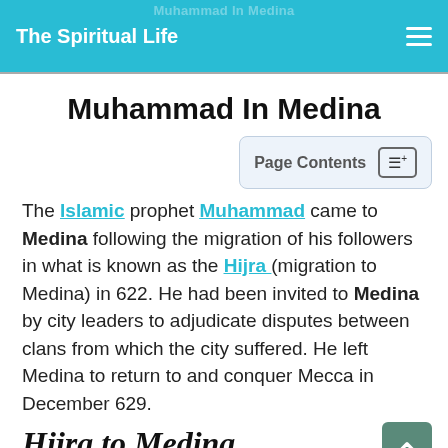Muhammad In Medina — The Spiritual Life
Muhammad In Medina
Page Contents
The Islamic prophet Muhammad came to Medina following the migration of his followers in what is known as the Hijra (migration to Medina) in 622. He had been invited to Medina by city leaders to adjudicate disputes between clans from which the city suffered. He left Medina to return to and conquer Mecca in December 629.
Hijra to Medina
Main article: (Hegira or Hijrah)